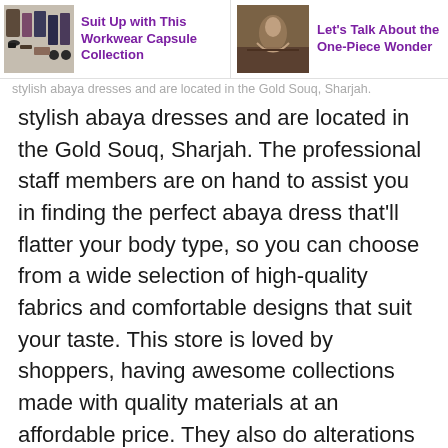Suit Up with This Workwear Capsule Collection | Let's Talk About the One-Piece Wonder
stylish abaya dresses and are located in the Gold Souq, Sharjah. The professional staff members are on hand to assist you in finding the perfect abaya dress that'll flatter your body type, so you can choose from a wide selection of high-quality fabrics and comfortable designs that suit your taste. This store is loved by shoppers, having awesome collections made with quality materials at an affordable price. They also do alterations and stitching according to your need.